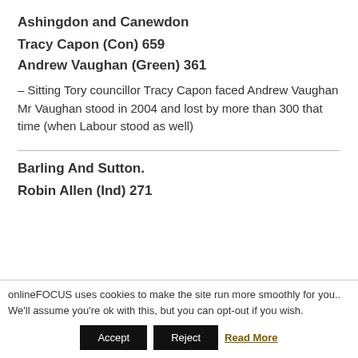Ashingdon and Canewdon
Tracy Capon (Con) 659
Andrew Vaughan (Green) 361
– Sitting Tory councillor Tracy Capon faced Andrew Vaughan Mr Vaughan stood in 2004 and lost by more than 300 that time (when Labour stood as well)
Barling And Sutton.
Robin Allen (Ind) 271
onlineFOCUS uses cookies to make the site run more smoothly for you.. We'll assume you're ok with this, but you can opt-out if you wish.